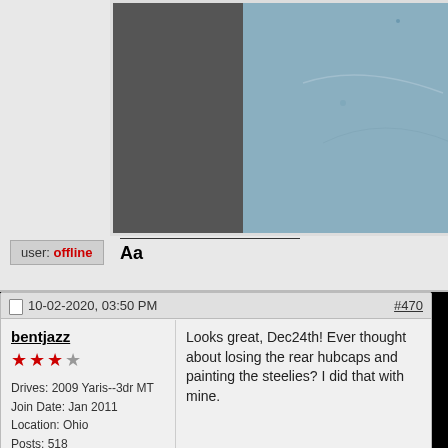[Figure (photo): Partial view of a blue/grey car body and dark asphalt, shown inside a white-bordered photo frame in the top-right section of the page.]
Aa
user: offline
10-02-2020, 03:50 PM
#470
bentjazz
Drives: 2009 Yaris--3dr MT
Join Date: Jan 2011
Location: Ohio
Posts: 518
Looks great, Dec24th! Ever thought about losing the rear hubcaps and painting the steelies? I did that with mine.